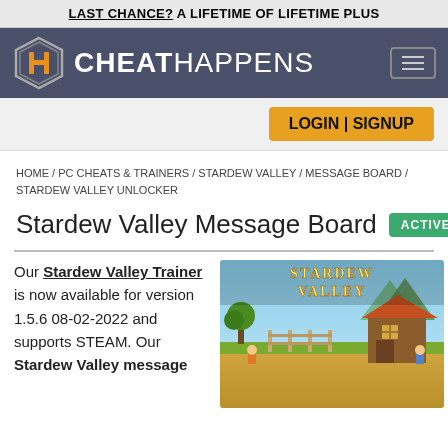LAST CHANCE? A LIFETIME OF LIFETIME PLUS
[Figure (logo): Cheat Happens website logo and navigation header with hexagon CH logo icon and hamburger menu]
LOGIN | SIGNUP
HOME / PC CHEATS & TRAINERS / STARDEW VALLEY / MESSAGE BOARD / STARDEW VALLEY UNLOCKER
Stardew Valley Message Board  ACTIVE
Our Stardew Valley Trainer is now available for version 1.5.6 08-02-2022 and supports STEAM. Our Stardew Valley message
[Figure (screenshot): Stardew Valley game cover art showing colorful farm scene with barn, crops, and characters with 'STARDEW VALLEY' text overlay]